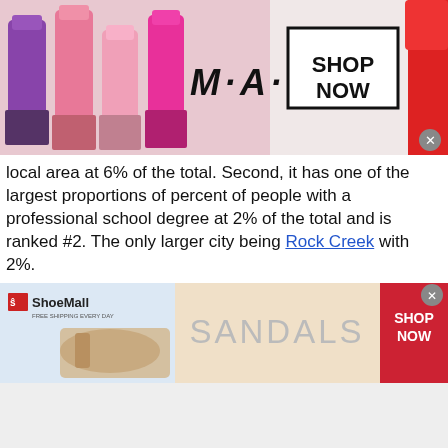[Figure (photo): MAC cosmetics advertisement banner showing lipsticks in purple, pink, and red colors with MAC logo and SHOP NOW button]
local area at 6% of the total. Second, it has one of the largest proportions of percent of people with a professional school degree at 2% of the total and is ranked #2. The only larger city being Rock Creek with 2%.
The chart in Figure 7 shows the broad area of academic concentration or the discipline for people who have received a bachelors degree. This high level classification is essentially the field of study for which a degree was obtained. Rush City has the percentage of percent of people with a degree in a science or engineering related less than most other places in the local area at 21.0% of the total. Second, it has one of th
[Figure (photo): ShoeMall advertisement banner showing sandals with SANDALS text and SHOP NOW button in red]